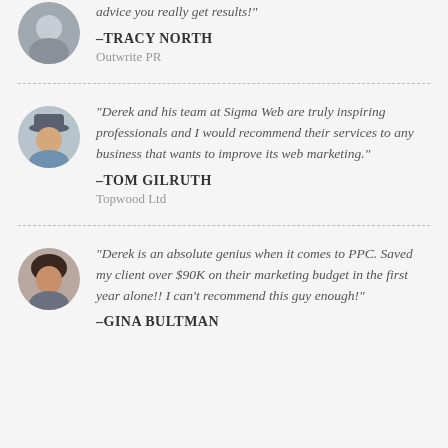advice you really get results!"
-TRACY NORTH
Outwrite PR
"Derek and his team at Sigma Web are truly inspiring professionals and I would recommend their services to any business that wants to improve its web marketing."
-TOM GILRUTH
Topwood Ltd
"Derek is an absolute genius when it comes to PPC. Saved my client over $90K on their marketing budget in the first year alone!! I can't recommend this guy enough!"
-GINA BULTMAN